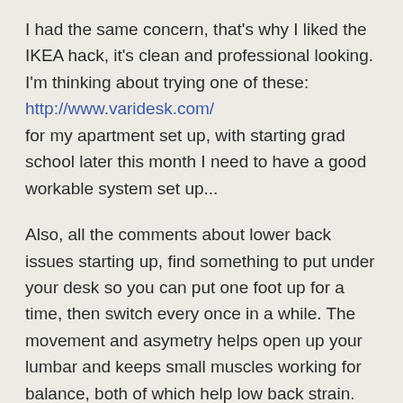I had the same concern, that's why I liked the IKEA hack, it's clean and professional looking. I'm thinking about trying one of these:
http://www.varidesk.com/
for my apartment set up, with starting grad school later this month I need to have a good workable system set up...
Also, all the comments about lower back issues starting up, find something to put under your desk so you can put one foot up for a time, then switch every once in a while. The movement and asymetry helps open up your lumbar and keeps small muscles working for balance, both of which help low back strain.
Like